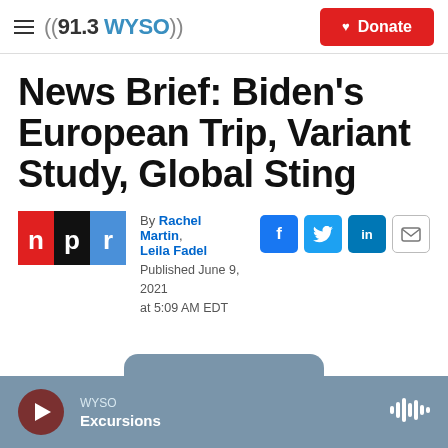((91.3 WYSO))  Donate
News Brief: Biden's European Trip, Variant Study, Global Sting
By Rachel Martin, Leila Fadel
Published June 9, 2021 at 5:09 AM EDT
[Figure (logo): NPR logo with red, black, and blue squares]
[Figure (infographic): Social share buttons: Facebook, Twitter, LinkedIn, Email]
WYSO Excursions — audio player bar